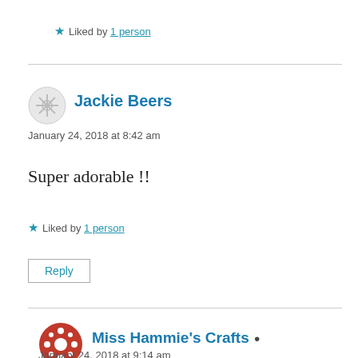Liked by 1 person
Jackie Beers
January 24, 2018 at 8:42 am
Super adorable !!
Liked by 1 person
Reply
Miss Hammie's Crafts
January 24, 2018 at 9:14 am